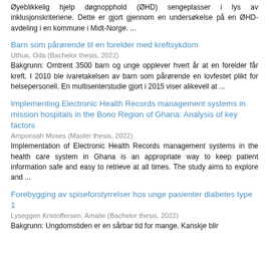Øyeblikkelig hjelp døgnopphold (ØHD) sengeplasser i lys av inklusjonskriteriene. Dette er gjort gjennom en undersøkelse på en ØHD-avdeling i en kommune i Midt-Norge. ...
Barn som pårørende til en forelder med kreftsykdom
Uthus, Oda (Bachelor thesis, 2022)
Bakgrunn: Omtrent 3500 barn og unge opplever hvert år at en forelder får kreft. I 2010 ble ivaretakelsen av barn som pårørende en lovfestet plikt for helsepersonell. En multisenterstudie gjort i 2015 viser alikevell at ...
Implementing Electronic Health Records management systems in mission hospitals in the Bono Region of Ghana: Analysis of key factors
Amponsah Moses (Master thesis, 2022)
Implementation of Electronic Health Records management systems in the health care system in Ghana is an appropriate way to keep patient information safe and easy to retrieve at all times. The study aims to explore and ...
Forebygging av spiseforstyrrelser hos unge pasienter diabetes type 1
Lyseggen Kristoffersen, Amalie (Bachelor thesis, 2022)
Bakgrunn: Ungdomstiden er en sårbar tid for mange. Kanskje blir